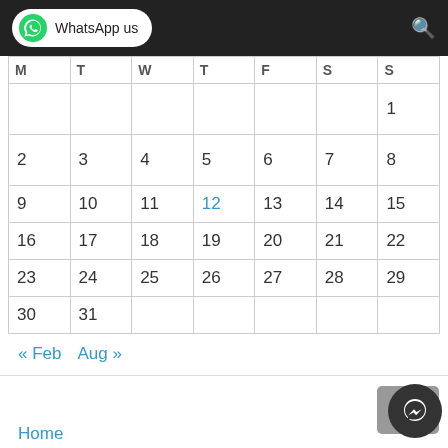WhatsApp us
| M | T | W | T | F | S | S |
| --- | --- | --- | --- | --- | --- | --- |
|  |  |  |  |  |  | 1 |
| 2 | 3 | 4 | 5 | 6 | 7 | 8 |
| 9 | 10 | 11 | 12 | 13 | 14 | 15 |
| 16 | 17 | 18 | 19 | 20 | 21 | 22 |
| 23 | 24 | 25 | 26 | 27 | 28 | 29 |
| 30 | 31 |  |  |  |  |  |
« Feb  Aug »
Home